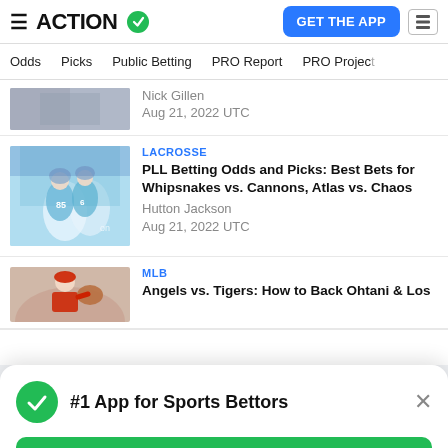ACTION — GET THE APP
Odds | Picks | Public Betting | PRO Report | PRO Project
Nick Gillen
Aug 21, 2022 UTC
LACROSSE
PLL Betting Odds and Picks: Best Bets for Whipsnakes vs. Cannons, Atlas vs. Chaos
Hutton Jackson
Aug 21, 2022 UTC
MLB
Angels vs. Tigers: How to Back Ohtani & Los
#1 App for Sports Bettors
GET FREE APP
Our Staff's Best Bets From Sunday's MLB